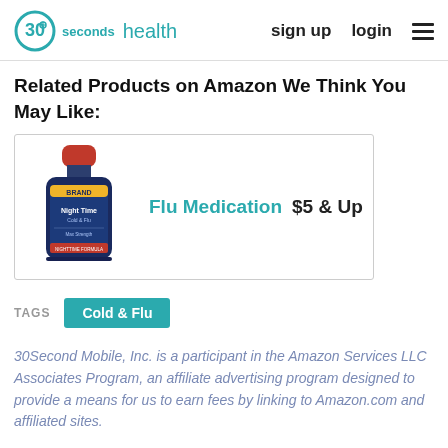30 health seconds | sign up  login
Related Products on Amazon We Think You May Like:
[Figure (photo): Bottle of flu medication (NyQuil-style night time cold & flu liquid medicine with red cap)]
Flu Medication  $5 & Up
TAGS  Cold & Flu
30Second Mobile, Inc. is a participant in the Amazon Services LLC Associates Program, an affiliate advertising program designed to provide a means for us to earn fees by linking to Amazon.com and affiliated sites.